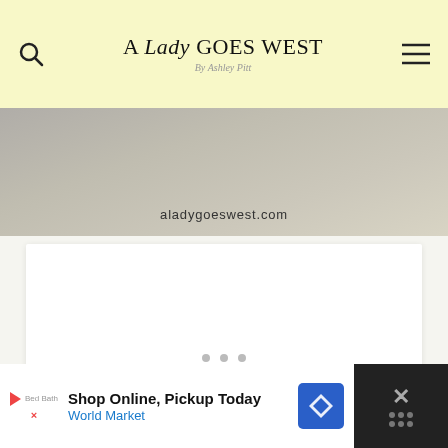A Lady Goes West — By Ashley Pitt — aladygoeswest.com
[Figure (photo): Partial image of feet on a geometric patterned floor with 'aladygoeswest.com' text overlay]
[Figure (other): White content card area with three carousel dots]
[Figure (other): Advertisement banner: Shop Online, Pickup Today — World Market]